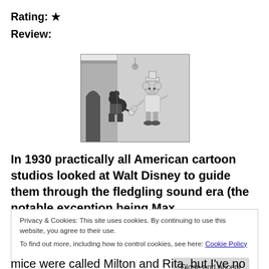Rating: ★
Review:
[Figure (illustration): Black and white cartoon illustration showing two cartoon mice characters in an early Disney animation style, one appearing to be a smaller mouse and the other a taller mouse in a hat, in a scene with a building backdrop.]
In 1930 practically all American cartoon studios looked at Walt Disney to guide them through the fledgling sound era (the notable exception being Max
Privacy & Cookies: This site uses cookies. By continuing to use this website, you agree to their use.
To find out more, including how to control cookies, see here: Cookie Policy
[Close and accept button]
mice were called Milton and Rita, but I've no evidence